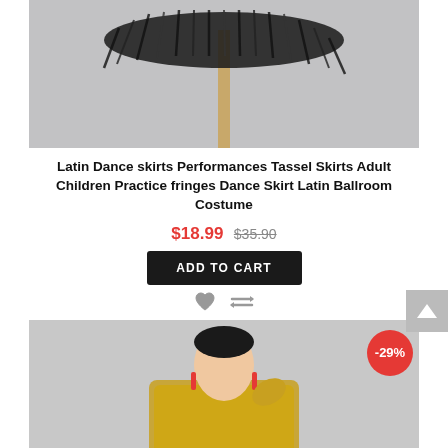[Figure (photo): Top portion of a Latin dance skirt with black feather/fringe trim on a stand, gray background]
Latin Dance skirts Performances Tassel Skirts Adult Children Practice fringes Dance Skirt Latin Ballroom Costume
$18.99 $35.90
ADD TO CART
[Figure (photo): Young girl wearing a gold sequin Latin dance costume with red earrings and headpiece, posed against gray background, with -29% discount badge]